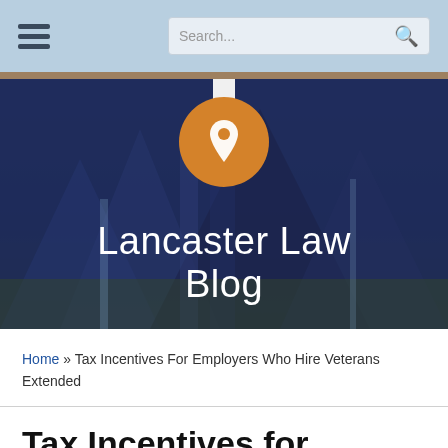Navigation bar with hamburger menu and search box
[Figure (illustration): Lancaster Law Blog banner with dark blue background showing architectural building elements, a logo pin with white map/location icon on orange circle, and site title 'Lancaster Law Blog' in white text]
Home » Tax Incentives For Employers Who Hire Veterans Extended
Tax Incentives for